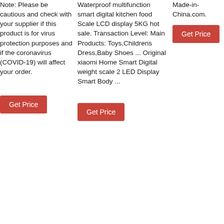Note: Please be cautious and check with your supplier if this product is for virus protection purposes and if the coronavirus (COVID-19) will affect your order.
Get Price
Waterproof multifunction smart digital kitchen food Scale LCD display 5KG hot sale. Transaction Level: Main Products: Toys,Childrens Dress,Baby Shoes ... Original xiaomi Home Smart Digital weight scale 2 LED Display Smart Body ...
Get Price
Made-in-China.com.
Get Price